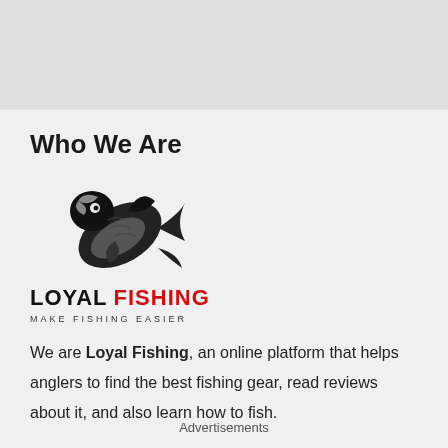Who We Are
[Figure (logo): Loyal Fishing logo: black and white illustration of a fish jumping upward with open mouth, above the text LOYAL FISHING in bold uppercase with LOYAL in black and FISHING in red, and tagline MAKE FISHING EASIER in small spaced uppercase letters]
We are Loyal Fishing, an online platform that helps anglers to find the best fishing gear, read reviews about it, and also learn how to fish.
Advertisements